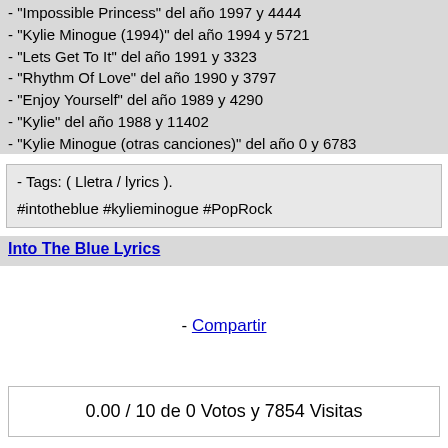- "Impossible Princess" del año 1997 y 4444
- "Kylie Minogue (1994)" del año 1994 y 5721
- "Lets Get To It" del año 1991 y 3323
- "Rhythm Of Love" del año 1990 y 3797
- "Enjoy Yourself" del año 1989 y 4290
- "Kylie" del año 1988 y 11402
- "Kylie Minogue (otras canciones)" del año 0 y 6783
- Tags: ( Lletra / lyrics ).
#intotheblue #kylieminogue #PopRock
Into The Blue Lyrics
- Compartir
0.00 / 10 de 0 Votos y 7854 Visitas